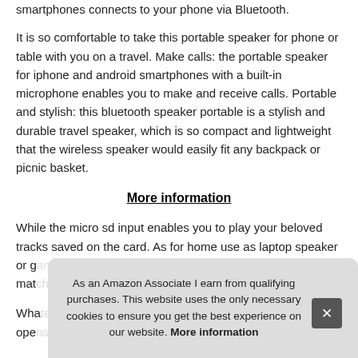smartphones connects to your phone via Bluetooth.
It is so comfortable to take this portable speaker for phone or table with you on a travel. Make calls: the portable speaker for iphone and android smartphones with a built-in microphone enables you to make and receive calls. Portable and stylish: this bluetooth speaker portable is a stylish and durable travel speaker, which is so compact and lightweight that the wireless speaker would easily fit any backpack or picnic basket.
More information
While the micro sd input enables you to play your beloved tracks saved on the card. As for home use as laptop speaker or g... mat...
Wha... ope...
As an Amazon Associate I earn from qualifying purchases. This website uses the only necessary cookies to ensure you get the best experience on our website. More information